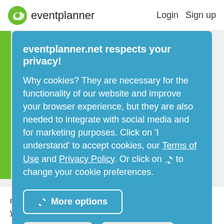eventplanner  Login  Sign up
eventplanner.net respects your privacy!
Why cookies? They are necessary for the functionality of our website and improve your browser experience, but they are also needed to integrate with social media and for marketing purposes. Click on 'I understand' to accept cookies, our Terms of Use and Privacy Policy. Or click on [pencil] to change your cookie preferences.
More options
Reject all
Accept all
meeting rooms in Steenokkerzeel for you. Now it's up to you to choose and book the most beautiful venue!